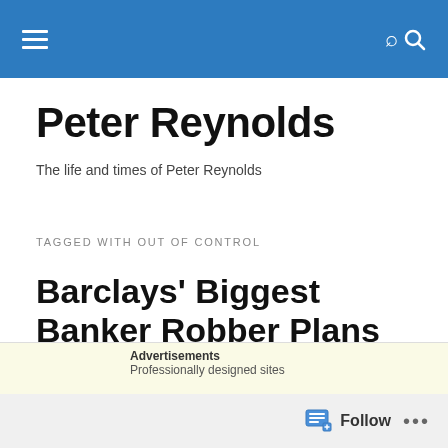Navigation bar with hamburger menu and search icon
Peter Reynolds
The life and times of Peter Reynolds
TAGGED WITH OUT OF CONTROL
Barclays' Biggest Banker Robber Plans Smash 'n' Grab On Britain
Advertisements
Professionally designed sites
Follow ...